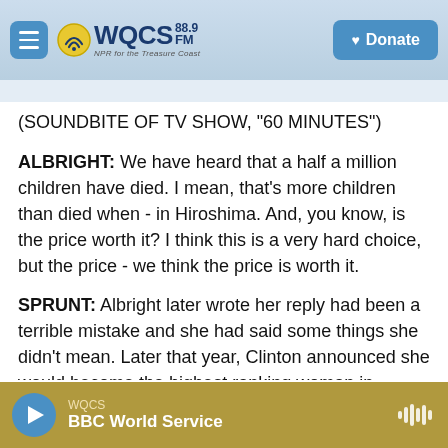WQCS 88.9 FM — NPR for the Treasure Coast | Donate
(SOUNDBITE OF TV SHOW, "60 MINUTES")
ALBRIGHT: We have heard that a half a million children have died. I mean, that's more children than died when - in Hiroshima. And, you know, is the price worth it? I think this is a very hard choice, but the price - we think the price is worth it.
SPRUNT: Albright later wrote her reply had been a terrible mistake and she had said some things she didn't mean. Later that year, Clinton announced she would become the highest ranking woman in
WQCS — BBC World Service